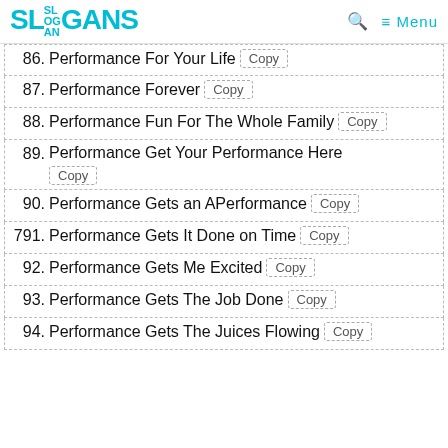SLOGANS — Menu
86. Performance For Your Life
87. Performance Forever
88. Performance Fun For The Whole Family
89. Performance Get Your Performance Here
90. Performance Gets an APerformance
791. Performance Gets It Done on Time
92. Performance Gets Me Excited
93. Performance Gets The Job Done
94. Performance Gets The Juices Flowing